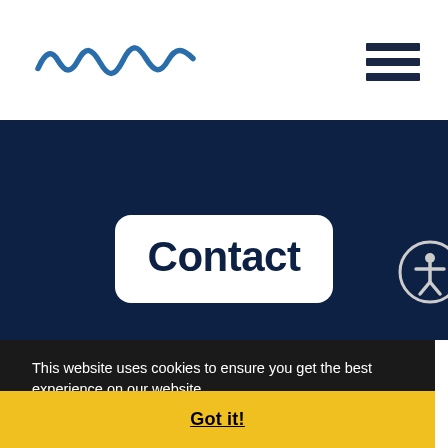Logo and navigation header
[Figure (logo): Wavy line logo in blue, resembling a river or wave pattern]
Contact
[Figure (infographic): Accessibility icon - person in circle]
This website uses cookies to ensure you get the best experience on our website.
Learn more
Got it!